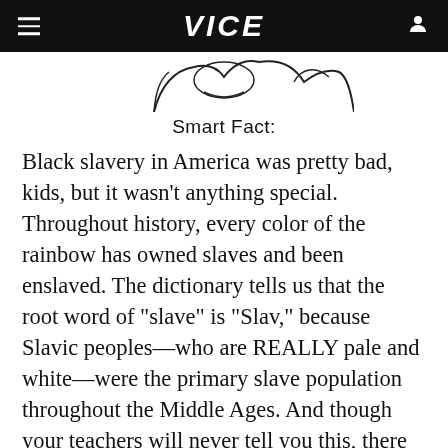VICE
[Figure (illustration): Partial illustration visible at top of page, appears to be a cartoon/comic style drawing]
Smart Fact:
Black slavery in America was pretty bad, kids, but it wasn't anything special. Throughout history, every color of the rainbow has owned slaves and been enslaved. The dictionary tells us that the root word of "slave" is "Slav," because Slavic peoples—who are REALLY pale and white—were the primary slave population throughout the Middle Ages. And though your teachers will never tell you this, there have been long